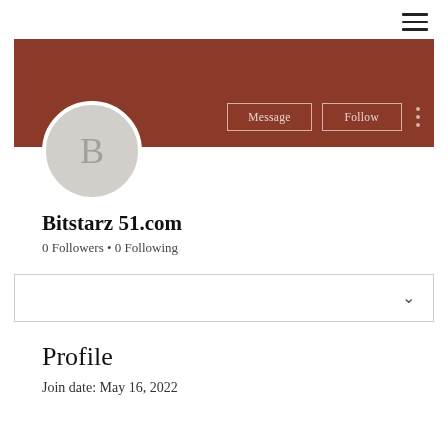≡
[Figure (screenshot): User profile banner with dark red/brown background color, showing Message and Follow buttons and a three-dot menu icon]
[Figure (illustration): Circular avatar with light gray background and letter B in the center]
Bitstarz 51.com
0 Followers • 0 Following
[Figure (other): Dropdown selector bar with chevron/down arrow on right]
Profile
Join date: May 16, 2022